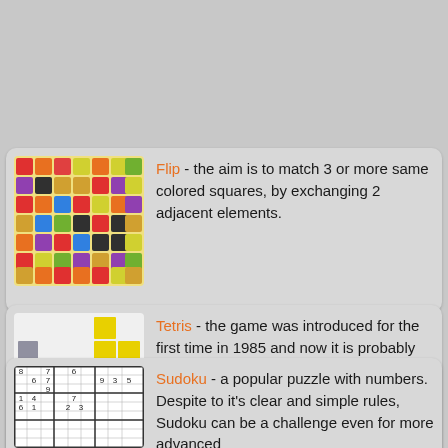[Figure (illustration): Flip puzzle game screenshot showing a grid of colorful squares in red, orange, yellow, green, blue, purple, and black]
Flip - the aim is to match 3 or more same colored squares, by exchanging 2 adjacent elements.
[Figure (illustration): Tetris game screenshot showing falling colored blocks (yellow, green, red, blue, magenta, orange) on a grid]
Tetris - the game was introduced for the first time in 1985 and now it is probably the most widespread, the most famous and most played game ever.
[Figure (illustration): Sudoku puzzle grid showing a partially filled number grid]
Sudoku - a popular puzzle with numbers. Despite to it's clear and simple rules, Sudoku can be a challenge even for more advanced